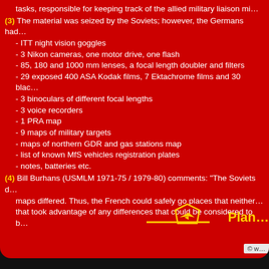tasks, responsible for keeping track of the allied military liaison mi...
(3) The material was seized by the Soviets; however, the Germans had...
- ITT night vision goggles
- 3 Nikon cameras, one motor drive, one flash
- 85, 180 and 1000 mm lenses, a focal length doubler and filters
- 29 exposed 400 ASA Kodak films, 7 Ektachrome films and 30 blac...
- 3 binoculars of different focal lengths
- 3 voice recorders
- 1 PRA map
- 9 maps of military targets
- maps of northern GDR and gas stations map
- list of known MfS vehicles registration plates
- notes, batteries etc.
(4) Bill Burhans (USMLM 1971-75 / 1979-80) comments: "The Soviets d... maps differed. Thus, the French could safely go places that neither... that took advantage of any differences that could be considered to b...
[Figure (logo): Pentagon-shaped logo with yellow bird/plane silhouette and yellow horizontal line, followed by partial text 'Plan' in yellow bold font]
© w...